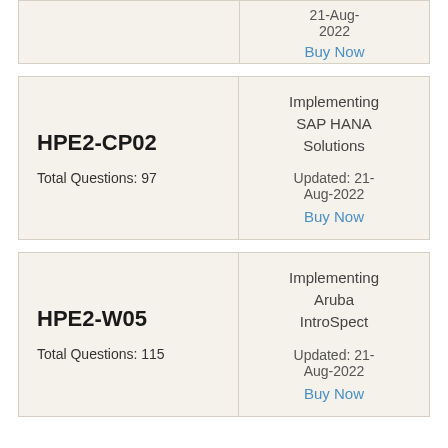| Exam Code / Questions | Details |
| --- | --- |
| (partial) Total Questions: (partial) | 21-Aug-2022
Buy Now |
| HPE2-CP02
Total Questions: 97 | Implementing SAP HANA Solutions
Updated: 21-Aug-2022
Buy Now |
| HPE2-W05
Total Questions: 115 | Implementing Aruba IntroSpect
Updated: 21-Aug-2022
Buy Now |